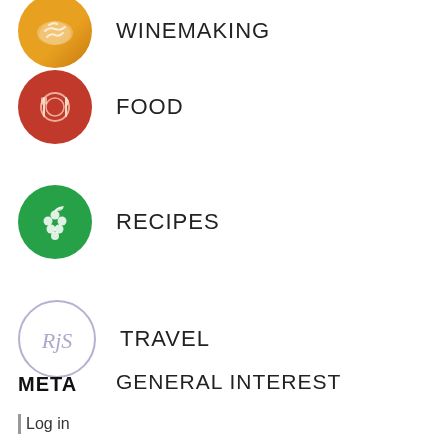WINEMAKING
FOOD
RECIPES
TRAVEL
GENERAL INTEREST
UNCATEGORIZED
META
Log in